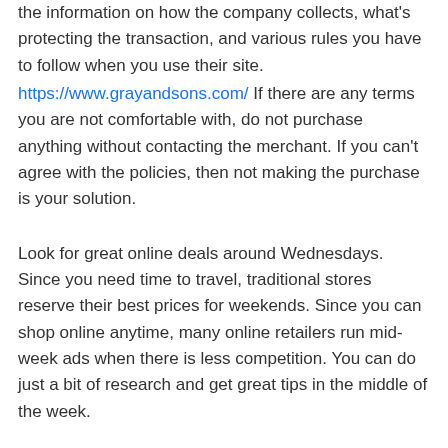the information on how the company collects, what's protecting the transaction, and various rules you have to follow when you use their site.
https://www.grayandsons.com/ If there are any terms you are not comfortable with, do not purchase anything without contacting the merchant. If you can't agree with the policies, then not making the purchase is your solution.
Look for great online deals around Wednesdays. Since you need time to travel, traditional stores reserve their best prices for weekends. Since you can shop online anytime, many online retailers run mid-week ads when there is less competition. You can do just a bit of research and get great tips in the middle of the week.
You need to make sure the Internet connection you use is secure. Your home connection usually is if you are connected